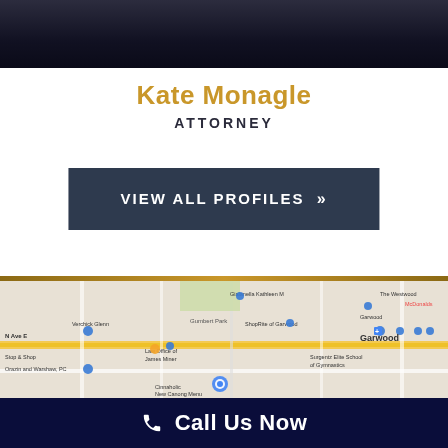[Figure (photo): Dark photo bar showing partial view of attorney in dark clothing]
Kate Monagle
ATTORNEY
VIEW ALL PROFILES »
[Figure (map): Google Maps view showing law offices in Garwood NJ area, with markers for Law Office of James Miner, Orazin and Warshaw PC, Stop & Shop, ShopRite of Garwood, Surgentz Elite School of Gymnastics, and other local businesses along North Ave]
Call Us Now